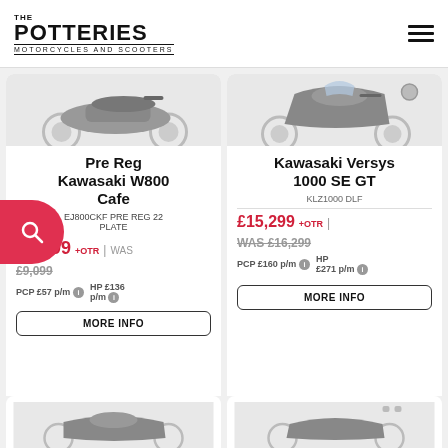THE POTTERIES MOTORCYCLES AND SCOOTERS
Pre Reg Kawasaki W800 Cafe
EJ800CKF PRE REG 22 PLATE
£6,999 +OTR | WAS £9,099 PCP £57 p/m HP £136 p/m
MORE INFO
Kawasaki Versys 1000 SE GT
KLZ1000 DLF
£15,299 +OTR | WAS £16,299 PCP £160 p/m HP £271 p/m
MORE INFO